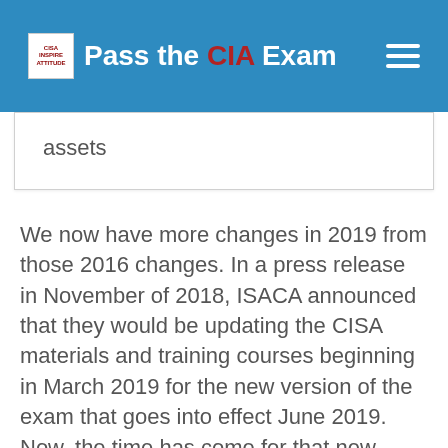Pass the CIA Exam
assets
We now have more changes in 2019 from those 2016 changes. In a press release in November of 2018, ISACA announced that they would be updating the CISA materials and training courses beginning in March 2019 for the new version of the exam that goes into effect June 2019. Now, the time has come for that new version of the exam.